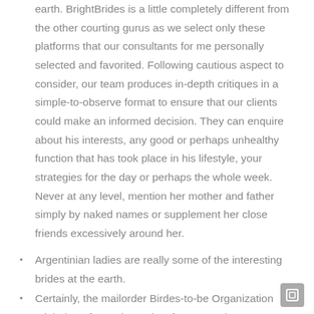earth. BrightBrides is a little completely different from the other courting gurus as we select only these platforms that our consultants for me personally selected and favorited. Following cautious aspect to consider, our team produces in-depth critiques in a simple-to-observe format to ensure that our clients could make an informed decision. They can enquire about his interests, any good or perhaps unhealthy function that has took place in his lifestyle, your strategies for the day or perhaps the whole week. Never at any level, mention her mother and father simply by naked names or supplement her close friends excessively around her.
Argentinian ladies are really some of the interesting brides at the earth.
Certainly, the mailorder Birdes-to-be Organization might be a fantastic product for many who want to operate abroad because of their marriages.
Subsequent your initial impression, your present thoughts is